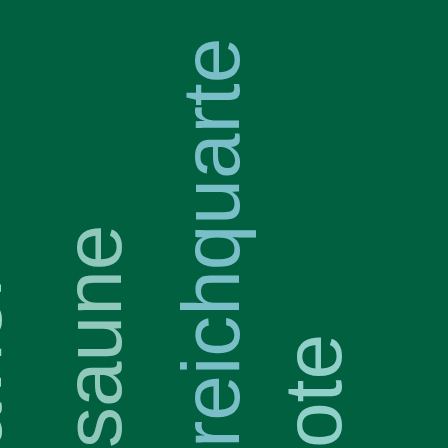[Figure (illustration): Dark green cover page with large light teal/cyan rotated text fragments running vertically. Visible text fragments include 'avier', 'saune', 'reichquarte', and 'ote', each rotated 90 degrees and arranged in staggered columns from left to right, with the text appearing to be parts of longer words cut off at the page edges. The background is a deep forest green color.]